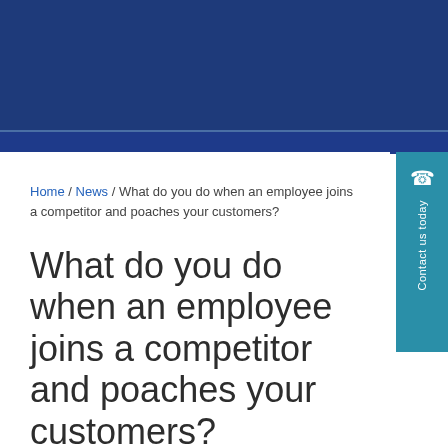Home / News / What do you do when an employee joins a competitor and poaches your customers?
What do you do when an employee joins a competitor and poaches your customers?
Blog